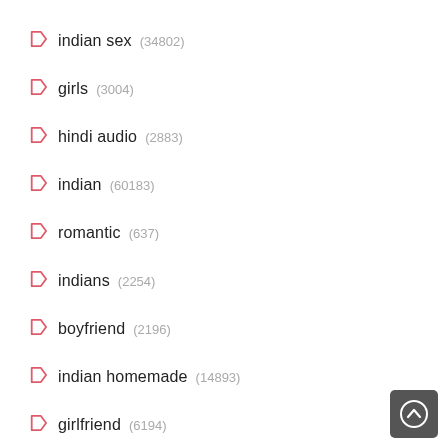indian sex (34802)
girls (3004)
hindi audio (2883)
indian (60183)
romantic (637)
indians (2254)
boyfriend (2196)
indian homemade (14893)
girlfriend (6194)